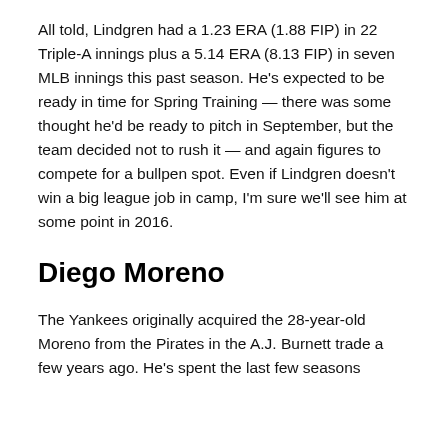All told, Lindgren had a 1.23 ERA (1.88 FIP) in 22 Triple-A innings plus a 5.14 ERA (8.13 FIP) in seven MLB innings this past season. He's expected to be ready in time for Spring Training — there was some thought he'd be ready to pitch in September, but the team decided not to rush it — and again figures to compete for a bullpen spot. Even if Lindgren doesn't win a big league job in camp, I'm sure we'll see him at some point in 2016.
Diego Moreno
The Yankees originally acquired the 28-year-old Moreno from the Pirates in the A.J. Burnett trade a few years ago. He's spent the last few seasons